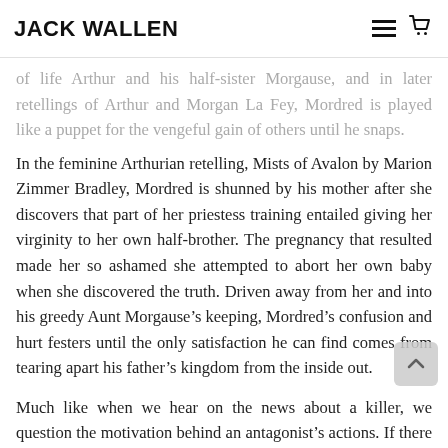JACK WALLEN
of life Arthur and his half-sister Morgause, and in later retellings of Arthur and Morgan La Fey, Mordred is played like a puppet for the vengeful gain of others until he snaps.
In the feminine Arthurian retelling, Mists of Avalon by Marion Zimmer Bradley, Mordred is shunned by his mother after she discovers that part of her priestess training entailed giving her virginity to her own half-brother. The pregnancy that resulted made her so ashamed she attempted to abort her own baby when she discovered the truth. Driven away from her and into his greedy Aunt Morgause’s keeping, Mordred’s confusion and hurt festers until the only satisfaction he can find comes from tearing apart his father’s kingdom from the inside out.
Much like when we hear on the news about a killer, we question the motivation behind an antagonist’s actions. If there is no motivation, that killer/antagonist becomes a monster in order to explain their behavior.
While I enjoy a good monster just as much as the next gal, there’s something powerful about a well-crafted antagonist with history and motivation. The motivation may have nothing at all to do with